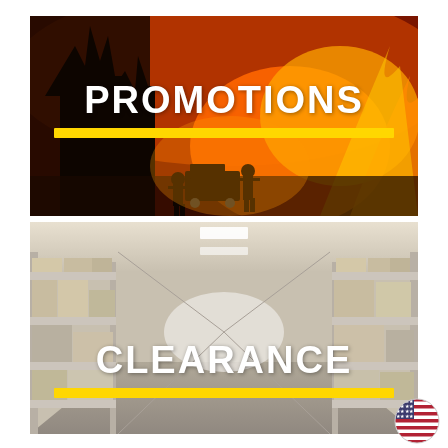[Figure (photo): Wildfire scene with firefighters silhouetted against large orange flames and burning trees, with the word PROMOTIONS overlaid in white bold text and a yellow bar beneath]
[Figure (photo): Warehouse or storage room interior with metal shelving units filled with boxes and supplies, with the word CLEARANCE overlaid in white bold text and a yellow bar beneath]
[Figure (illustration): Small circular US flag icon in the bottom right corner]